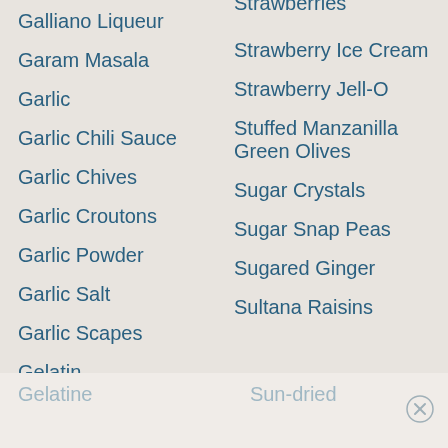Galliano Liqueur
Garam Masala
Garlic
Garlic Chili Sauce
Garlic Chives
Garlic Croutons
Garlic Powder
Garlic Salt
Garlic Scapes
Gelatin
Strawberries
Strawberry Ice Cream
Strawberry Jell-O
Stuffed Manzanilla Green Olives
Sugar Crystals
Sugar Snap Peas
Sugared Ginger
Sultana Raisins
Gelatine
Sun-dried